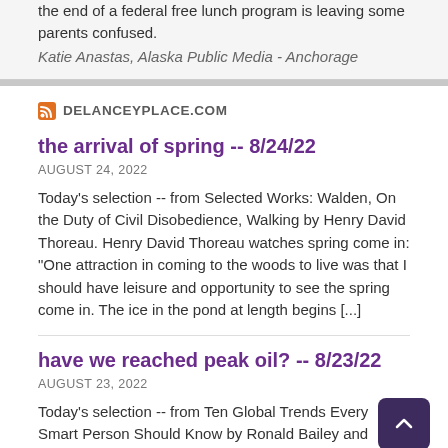the end of a federal free lunch program is leaving some parents confused.
Katie Anastas, Alaska Public Media - Anchorage
DELANCEYPLACE.COM
the arrival of spring -- 8/24/22
AUGUST 24, 2022
Today's selection -- from Selected Works: Walden, On the Duty of Civil Disobedience, Walking by Henry David Thoreau. Henry David Thoreau watches spring come in: "One attraction in coming to the woods to live was that I should have leisure and opportunity to see the spring come in. The ice in the pond at length begins [...]
have we reached peak oil? -- 8/23/22
AUGUST 23, 2022
Today's selection -- from Ten Global Trends Every Smart Person Should Know by Ronald Bailey and Marian L. Tupy.